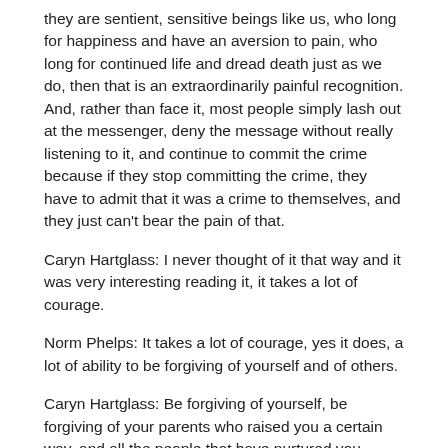they are sentient, sensitive beings like us, who long for happiness and have an aversion to pain, who long for continued life and dread death just as we do, then that is an extraordinarily painful recognition. And, rather than face it, most people simply lash out at the messenger, deny the message without really listening to it, and continue to commit the crime because if they stop committing the crime, they have to admit that it was a crime to themselves, and they just can't bear the pain of that.
Caryn Hartglass: I never thought of it that way and it was very interesting reading it, it takes a lot of courage.
Norm Phelps: It takes a lot of courage, yes it does, a lot of ability to be forgiving of yourself and of others.
Caryn Hartglass: Be forgiving of yourself, be forgiving of your parents who raised you a certain way, and all the people that have nurtured you.
Norm Phelps: Indeed it does, and all our political and philosophical and entertainment heroes, it takes a lot of